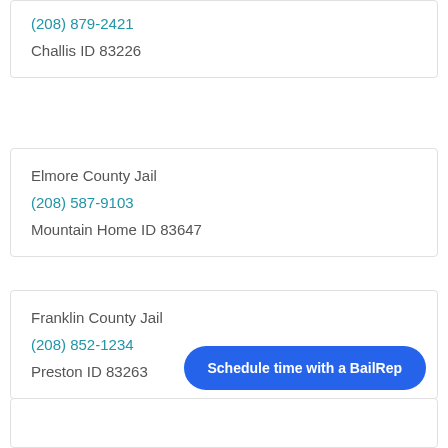(208) 879-2421
Challis ID 83226
Elmore County Jail
(208) 587-9103
Mountain Home ID 83647
Franklin County Jail
(208) 852-1234
Preston ID 83263
Schedule time with a BailRep